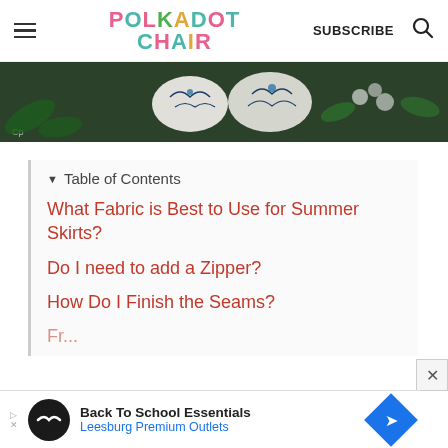POLKADOT CHAIR | SUBSCRIBE
[Figure (photo): Decorated Easter eggs with floral patterns and white flowers on a dark background]
▼ Table of Contents
What Fabric is Best to Use for Summer Skirts?
Do I need to add a Zipper?
How Do I Finish the Seams?
Fr... (partially visible)
[Figure (other): Advertisement banner: Back To School Essentials - Leesburg Premium Outlets]